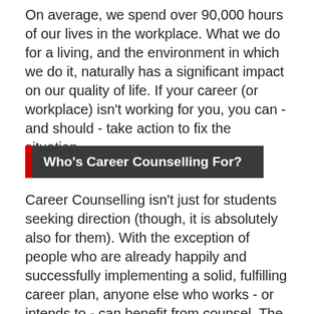On average, we spend over 90,000 hours of our lives in the workplace. What we do for a living, and the environment in which we do it, naturally has a significant impact on our quality of life. If your career (or workplace) isn't working for you, you can - and should - take action to fix the situation.
Who's Career Counselling For?
Career Counselling isn't just for students seeking direction (though, it is absolutely also for them). With the exception of people who are already happily and successfully implementing a solid, fulfilling career plan, anyone else who works - or intends to - can benefit from counsel. The specific challenges you're facing will determine the direction and scope of your particular career or workplace counselling...